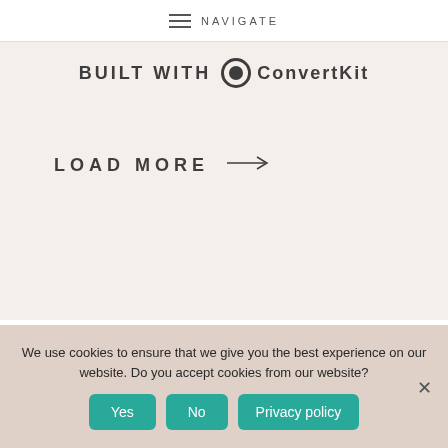NAVIGATE
[Figure (logo): BUILT WITH ConvertKit logo with circular icon]
LOAD MORE →
We use cookies to ensure that we give you the best experience on our website. Do you accept cookies from our website?
Yes   No   Privacy policy